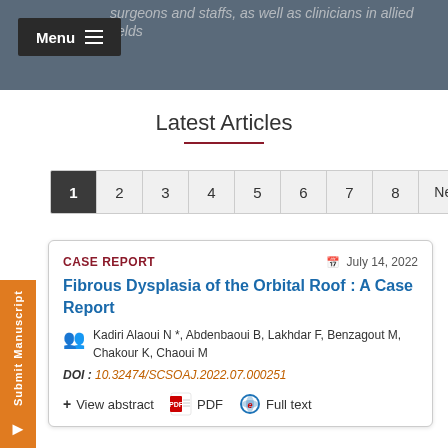surgeons and staffs, as well as clinicians in allied fields
Latest Articles
1  2  3  4  5  6  7  8  Next
CASE REPORT   July 14, 2022
Fibrous Dysplasia of the Orbital Roof : A Case Report
Kadiri Alaoui N *, Abdenbaoui B, Lakhdar F, Benzagout M, Chakour K, Chaoui M
DOI : 10.32474/SCSOAJ.2022.07.000251
+ View abstract   PDF   Full text